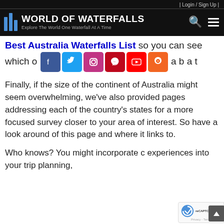| Login / Sign Up |
[Figure (logo): World of Waterfalls logo with blue bar chart icon and text 'World of Waterfalls - Explore The World One Waterfall At A Time']
Best Australia Waterfalls List so you can see which o a b a t
[Figure (infographic): Social media icons row: Facebook, Twitter, Instagram, Pinterest, YouTube, RSS]
Finally, if the size of the continent of Australia might seem overwhelming, we've also provided pages addressing each of the country's states for a more focused survey closer to your area of interest. So have a look around of this page and where it links to.
Who knows? You might incorporate c experiences into your trip planning,